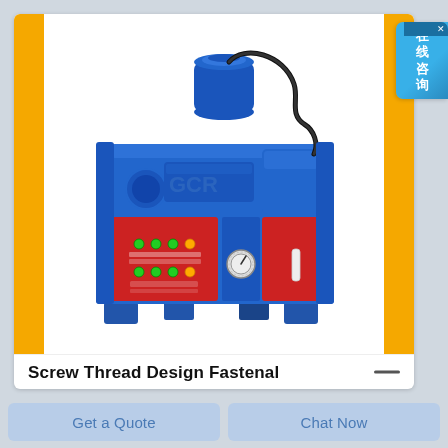[Figure (photo): Industrial screw thread rolling machine, blue and red colored, with yellow decorative bars on left and right sides of the product image. The machine has a blue metal body with a cylindrical motor on top, hydraulic hoses, pressure gauge, and red side panels with control buttons and indicators.]
Screw Thread Design Fastenal
Get a Quote
Chat Now